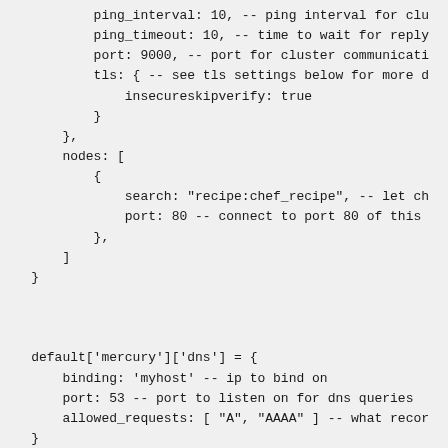ping_interval: 10, -- ping interval for clu
            ping_timeout: 10, -- time to wait for reply
            port: 9000, -- port for cluster communicati
            tls: { -- see tls settings below for more d
                insecureskipverify: true
            }
        },
        nodes: [
            {
                search: "recipe:chef_recipe", -- let ch
                port: 80 -- connect to port 80 of this
            },
        ]
    }



    default['mercury']['dns'] = {
        binding: 'myhost' -- ip to bind on
        port: 53 -- port to listen on for dns queries
        allowed_requests: [ "A", "AAAA" ] -- what recor
    }